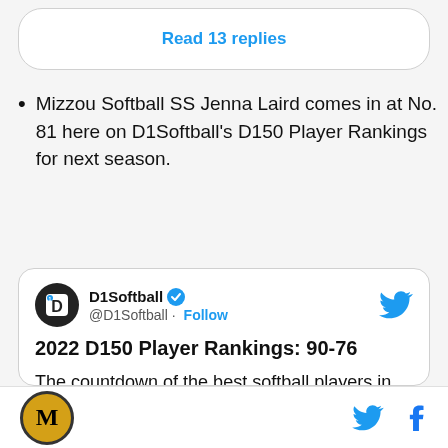Read 13 replies
Mizzou Softball SS Jenna Laird comes in at No. 81 here on D1Softball's D150 Player Rankings for next season.
[Figure (screenshot): Embedded tweet from @D1Softball with verified badge and Twitter logo. Tweet title: '2022 D150 Player Rankings: 90-76'. Tweet body: 'The countdown of the best softball players in the country continues, led by @AuburnSoftball pitcher Maddie Porta']
Mizzou logo, Twitter icon, Facebook icon